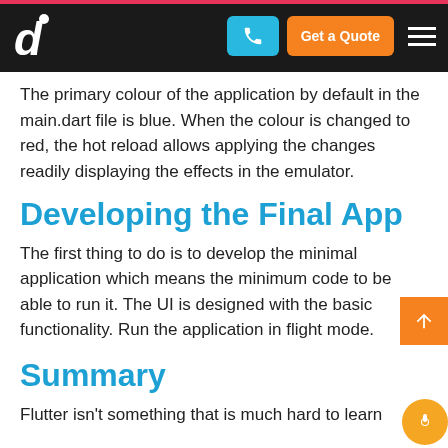Navigation bar with logo, phone button, Get a Quote button, and hamburger menu
The primary colour of the application by default in the main.dart file is blue. When the colour is changed to red, the hot reload allows applying the changes readily displaying the effects in the emulator.
Developing the Final App
The first thing to do is to develop the minimal application which means the minimum code to be able to run it. The UI is designed with the basic functionality. Run the application in flight mode.
Summary
Flutter isn't something that is much hard to learn d